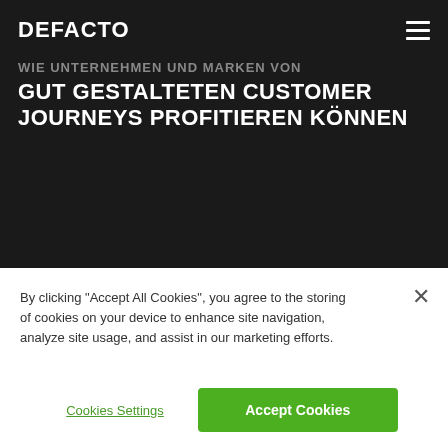DEFACTO
WIE UNTERNEHMEN UND MARKEN VON GUT GESTALTETEN CUSTOMER JOURNEYS PROFITIEREN KÖNNEN
By clicking "Accept All Cookies", you agree to the storing of cookies on your device to enhance site navigation, analyze site usage, and assist in our marketing efforts.
Cookies Settings
Accept Cookies